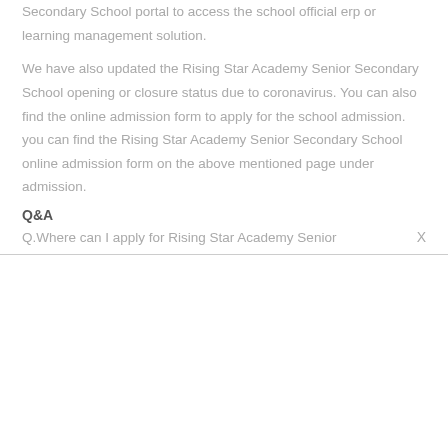Secondary School portal to access the school official erp or learning management solution.
We have also updated the Rising Star Academy Senior Secondary School opening or closure status due to coronavirus. You can also find the online admission form to apply for the school admission. you can find the Rising Star Academy Senior Secondary School online admission form on the above mentioned page under admission.
Q&A
Q.Where can I apply for Rising Star Academy Senior